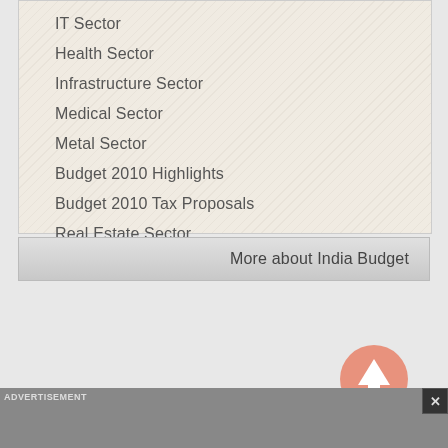IT Sector
Health Sector
Infrastructure Sector
Medical Sector
Metal Sector
Budget 2010 Highlights
Budget 2010 Tax Proposals
Real Estate Sector
More about India Budget
ADVERTISEMENT